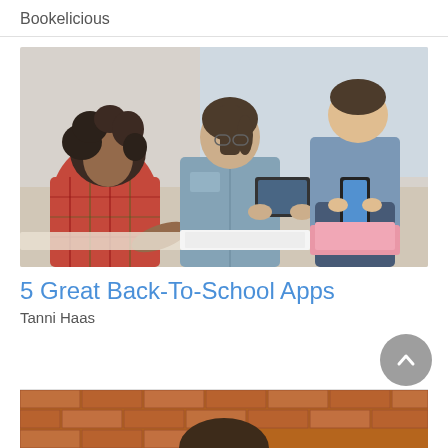Bookelicious
[Figure (photo): Children using smartphones and tablets in a classroom setting. A girl in a red plaid shirt looks down, a girl in a denim jacket holds a tablet, a boy in blue jeans sits on a desk using a phone, and another child is visible in the background near a window.]
5 Great Back-To-School Apps
Tanni Haas
[Figure (photo): Partial view of a person against a brick wall background, cropped at the bottom of the page.]